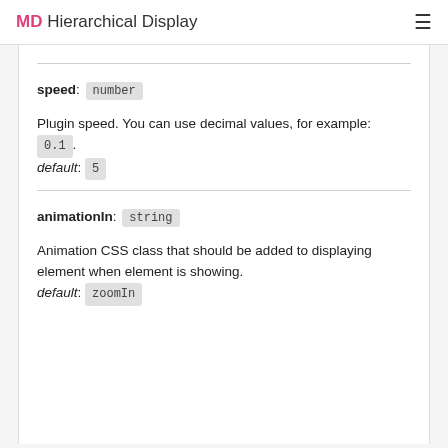MD Hierarchical Display
speed: number
Plugin speed. You can use decimal values, for example: 0.1.
default: 5
animationIn: string
Animation CSS class that should be added to displaying element when element is showing.
default: zoomIn